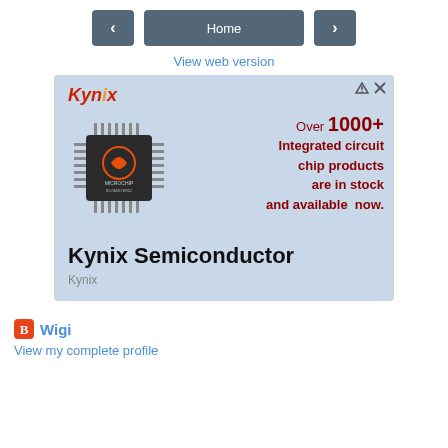< Home >
View web version
[Figure (advertisement): Kynix Semiconductor advertisement showing a Microchip integrated circuit chip with text: Over 1000+ Integrated circuit chip products are in stock and available now. Kynix Semiconductor. Kynix.]
Wigi
View my complete profile